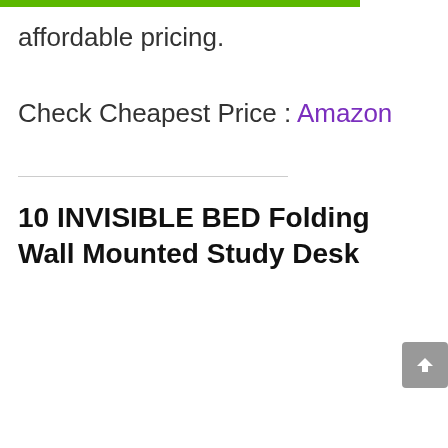affordable pricing.
Check Cheapest Price : Amazon
10 INVISIBLE BED Folding Wall Mounted Study Desk